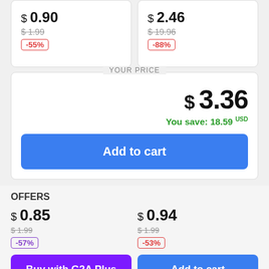$ 0.90
$ 1.99
-55%
$ 2.46
$ 19.96
-88%
YOUR PRICE
$ 3.36
You save: 18.59 USD
Add to cart
OFFERS
$ 0.85
$ 1.99
-57%
$ 0.94
$ 1.99
-53%
Buy with G2A Plus
Add to cart